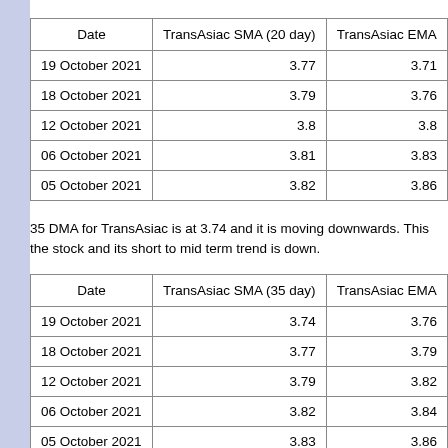| Date | TransAsiac SMA (20 day) | TransAsiac EMA |
| --- | --- | --- |
| 19 October 2021 | 3.77 | 3.71 |
| 18 October 2021 | 3.79 | 3.76 |
| 12 October 2021 | 3.8 | 3.8 |
| 06 October 2021 | 3.81 | 3.83 |
| 05 October 2021 | 3.82 | 3.86 |
35 DMA for TransAsiac is at 3.74 and it is moving downwards. This the stock and its short to mid term trend is down.
| Date | TransAsiac SMA (35 day) | TransAsiac EMA |
| --- | --- | --- |
| 19 October 2021 | 3.74 | 3.76 |
| 18 October 2021 | 3.77 | 3.79 |
| 12 October 2021 | 3.79 | 3.82 |
| 06 October 2021 | 3.82 | 3.84 |
| 05 October 2021 | 3.83 | 3.86 |